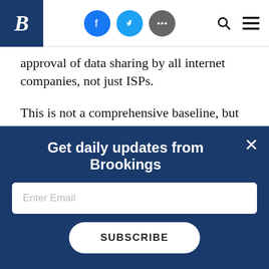B [Brookings logo] | Facebook | Twitter | More | Search | Menu
approval of data sharing by all internet companies, not just ISPs.
This is not a comprehensive baseline, but does offer another starting point for discussion. It is time take up that discussion in earnest and haste. Otherwise, American consumers and trust in American business will be...
Get daily updates from Brookings
Enter Email
SUBSCRIBE